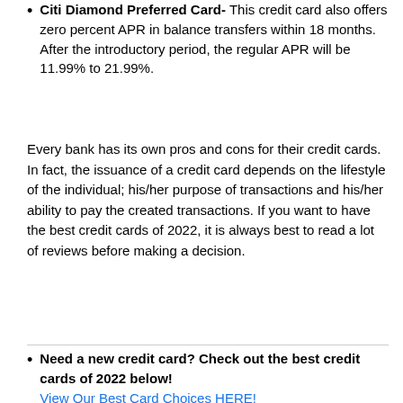Citi Diamond Preferred Card- This credit card also offers zero percent APR in balance transfers within 18 months. After the introductory period, the regular APR will be 11.99% to 21.99%.
Every bank has its own pros and cons for their credit cards. In fact, the issuance of a credit card depends on the lifestyle of the individual; his/her purpose of transactions and his/her ability to pay the created transactions. If you want to have the best credit cards of 2022, it is always best to read a lot of reviews before making a decision.
Need a new credit card? Check out the best credit cards of 2022 below! View Our Best Card Choices HERE!
Popular Posts